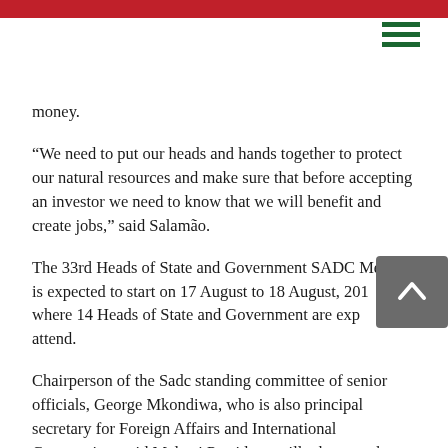[red bar header]
money.
“We need to put our heads and hands together to protect our natural resources and make sure that before accepting an investor we need to know that we will benefit and create jobs,” said Salamão.
The 33rd Heads of State and Government SADC Meeting is expected to start on 17 August to 18 August, 2013 where 14 Heads of State and Government are expected to attend.
Chairperson of the Sadc standing committee of senior officials, George Mkondiwa, who is also principal secretary for Foreign Affairs and International Cooperation, said Malawi President, will take over the mantle of chairperson